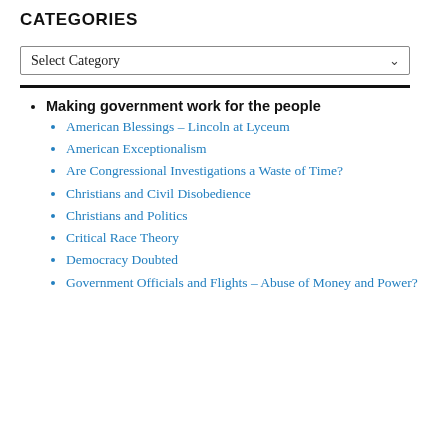CATEGORIES
Select Category
Making government work for the people
American Blessings – Lincoln at Lyceum
American Exceptionalism
Are Congressional Investigations a Waste of Time?
Christians and Civil Disobedience
Christians and Politics
Critical Race Theory
Democracy Doubted
Government Officials and Flights – Abuse of Money and Power?